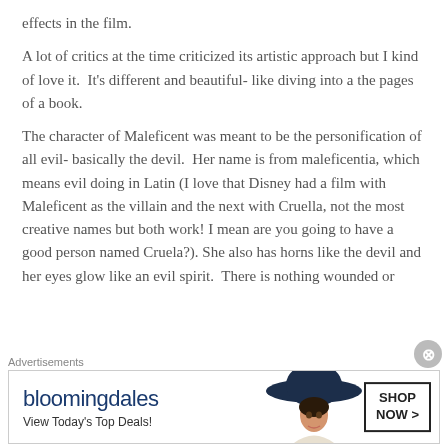effects in the film.
A lot of critics at the time criticized its artistic approach but I kind of love it.  It's different and beautiful- like diving into a the pages of a book.
The character of Maleficent was meant to be the personification of all evil- basically the devil.  Her name is from maleficentia, which means evil doing in Latin (I love that Disney had a film with Maleficent as the villain and the next with Cruella, not the most creative names but both work! I mean are you going to have a good person named Cruela?). She also has horns like the devil and her eyes glow like an evil spirit.  There is nothing wounded or
Advertisements
[Figure (other): Bloomingdale's advertisement banner with logo, tagline 'View Today's Top Deals!', woman in wide-brim hat, and 'SHOP NOW >' button]